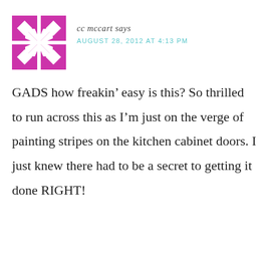[Figure (logo): Magenta/pink quilt-pattern avatar icon with geometric star/pinwheel design on white background]
cc mccart says
AUGUST 28, 2012 AT 4:13 PM
GADS how freakin’ easy is this? So thrilled to run across this as I’m just on the verge of painting stripes on the kitchen cabinet doors. I just knew there had to be a secret to getting it done RIGHT!